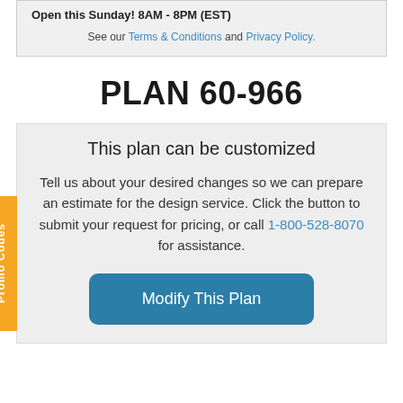Open this Sunday! 8AM - 8PM (EST)
See our Terms & Conditions and Privacy Policy.
PLAN 60-966
This plan can be customized
Tell us about your desired changes so we can prepare an estimate for the design service. Click the button to submit your request for pricing, or call 1-800-528-8070 for assistance.
Modify This Plan
Promo Codes